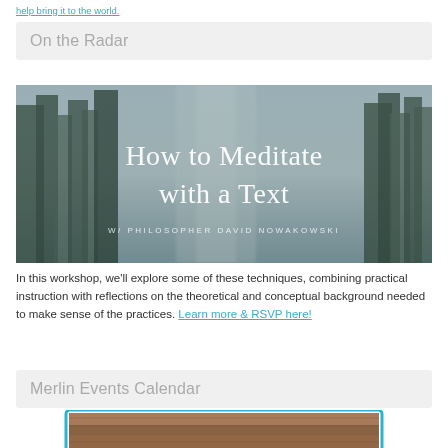help bring it to the world.
On the Radar
[Figure (photo): Misty forest photograph with overlay text 'How to Meditate with a Text' and subtitle 'W/ PHILOSOPHER DAVID NOWAKOWSKI']
In this workshop, we'll explore some of these techniques, combining practical instruction with reflections on the theoretical and conceptual background needed to make sense of the practices. Learn more & RSVP here!
Merlin Events Calendar
[Figure (photo): Partial image at bottom with teal border, showing a brown textured surface]